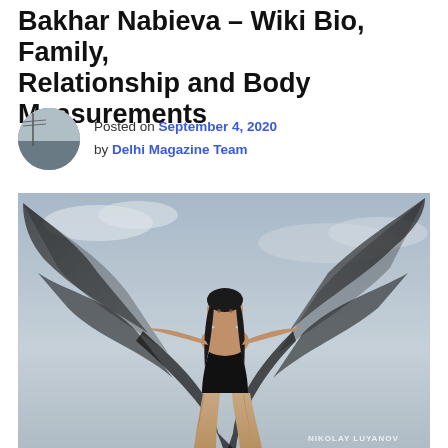Bakhar Nabieva – Wiki Bio, Family, Relationship and Body Measurements
Posted on September 4, 2020 by Delhi Magazine Team
[Figure (photo): Bakhar Nabieva posing outdoors in a black swimsuit, holding up a large flowing dark sheer fabric with both arms extended, muscular legs visible, overcast sky background. Watermark reads 'NIKOLAY LUYANOV' in bottom right corner.]